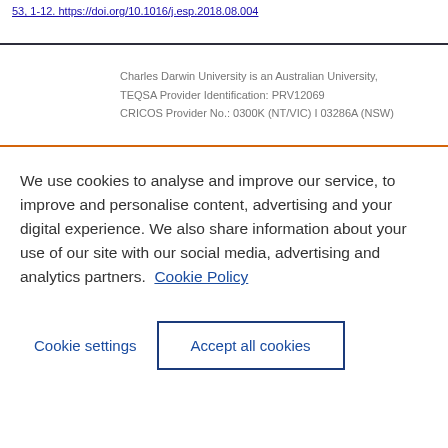53, 1-12. https://doi.org/10.1016/j.esp.2018.08.004
Charles Darwin University is an Australian University, TEQSA Provider Identification: PRV12069 CRICOS Provider No.: 0300K (NT/VIC) I 03286A (NSW)
We use cookies to analyse and improve our service, to improve and personalise content, advertising and your digital experience. We also share information about your use of our site with our social media, advertising and analytics partners.  Cookie Policy
Cookie settings
Accept all cookies